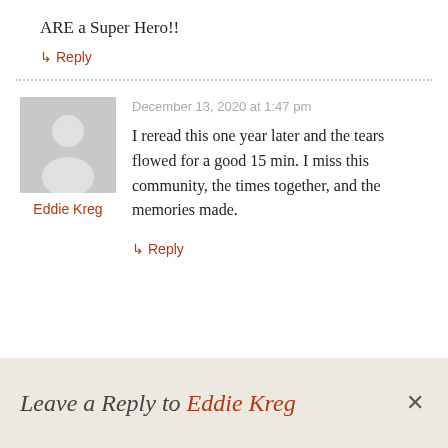ARE a Super Hero!!
↳ Reply
[Figure (illustration): Avatar placeholder - grey silhouette of a person]
Eddie Kreg
December 13, 2020 at 1:47 pm
I reread this one year later and the tears flowed for a good 15 min. I miss this community, the times together, and the memories made.
↳ Reply
Leave a Reply to Eddie Kreg